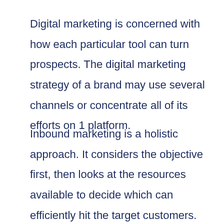Digital marketing is concerned with how each particular tool can turn prospects. The digital marketing strategy of a brand may use several channels or concentrate all of its efforts on 1 platform.
Inbound marketing is a holistic approach. It considers the objective first, then looks at the resources available to decide which can efficiently hit the target customers. Then, at which point of the sales enclosure it should happen.